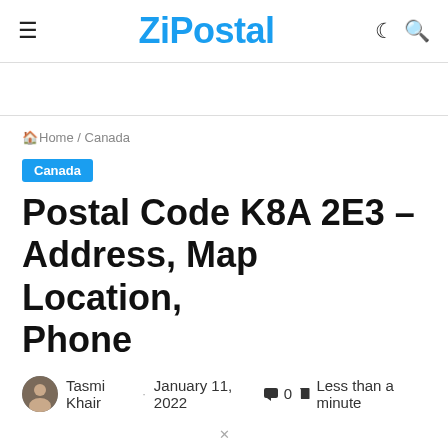ZiPostal
Home / Canada
Canada
Postal Code K8A 2E3 – Address, Map Location, Phone
Tasmi Khair · January 11, 2022 · 0 · Less than a minute